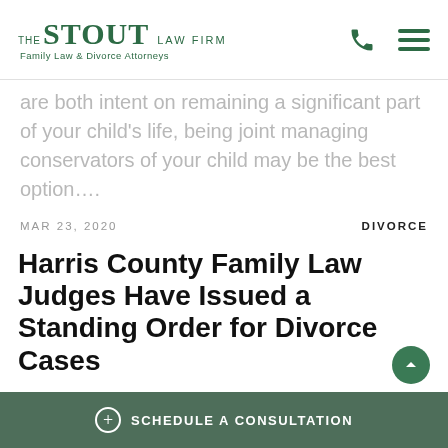THE STOUT LAW FIRM — Family Law & Divorce Attorneys
are both intent on remaining a significant part of your child's life, being joint managing conservators of your child may be the best option….
MAR 23, 2020   DIVORCE
Harris County Family Law Judges Have Issued a Standing Order for Divorce Cases
The Harris County Family Law Judges have issued a Standing Order for all divorce cases filed between now
SCHEDULE A CONSULTATION